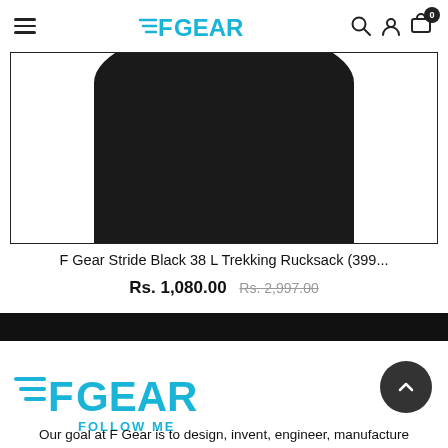F GEAR navigation header with hamburger menu, logo, search, account and cart icons
[Figure (photo): Bottom portion of a black trekking rucksack shown against white background inside a bordered box]
F Gear Stride Black 38 L Trekking Rucksack (399...
Rs. 1,080.00  Rs. 2,997.00
[Figure (logo): F GEAR FOLLOW ME logo in cyan/blue]
Our goal at F Gear is to design, invent, engineer, manufacture